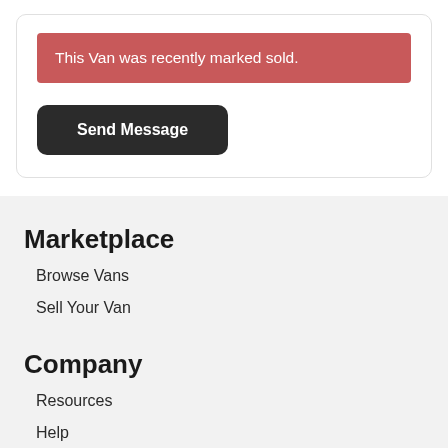This Van was recently marked sold.
Send Message
Marketplace
Browse Vans
Sell Your Van
Company
Resources
Help
Terms of Service